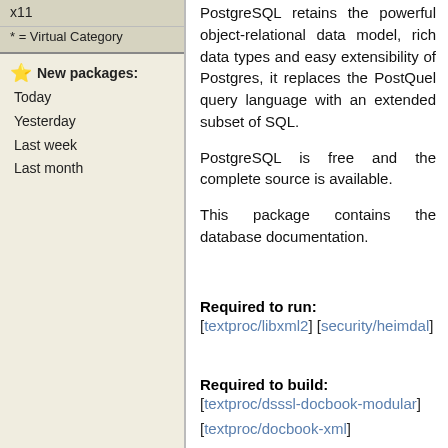x11
* = Virtual Category
New packages: Today Yesterday Last week Last month
PostgreSQL retains the powerful object-relational data model, rich data types and easy extensibility of Postgres, it replaces the PostQuel query language with an extended subset of SQL.

PostgreSQL is free and the complete source is available.

This package contains the database documentation.
Required to run:
[textproc/libxml2] [security/heimdal]
Required to build:
[textproc/dsssl-docbook-modular]
[textproc/docbook-xml]